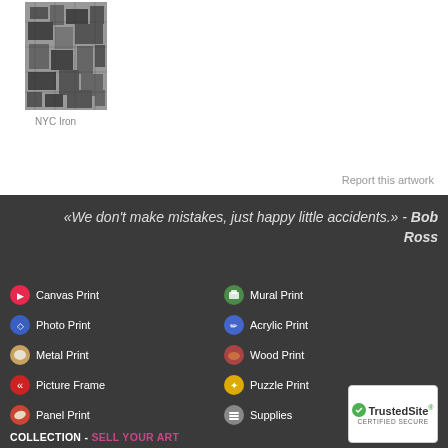[Figure (photo): Black and white aerial photograph of NYC iron structures/buildings, densely packed]
NYC Iron
Report this artwork
«We don't make mistakes, just happy little accidents.»  -  Bob Ross
Canvas Print
Photo Print
Metal Print
Picture Frame
Panel Print
Mural Print
Acrylic Print
Wood Print
Puzzle Print
Supplies
[Figure (logo): TrustedSite Certified Secure badge with green checkmark]
COLLECTION - SELL YOUR ART